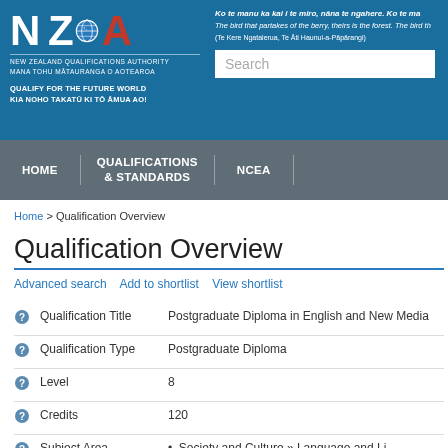[Figure (logo): NZQA logo with globe icon and taglines]
Ko te manu ka kai i te miro, nāna te ngahere. Ko te ma
The bird that partakes of the berry, theirs is the forest. The bird th
(Te Kere Ngataierua, Te Āti Haunui-a-Pāpārangi)
HOME | QUALIFICATIONS & STANDARDS | NCEA |
Home > Qualification Overview
Qualification Overview
Advanced search   Add to shortlist   View shortlist
|  | Field | Value |
| --- | --- | --- |
|  | Qualification Title | Postgraduate Diploma in English and New Media |
|  | Qualification Type | Postgraduate Diploma |
|  | Level | 8 |
|  | Credits | 120 |
|  | Subject Area | • Society and Culture » Language and Li |
|  | Strategic Purpose Statement | PgDipENMS graduates will have advanced knowl |